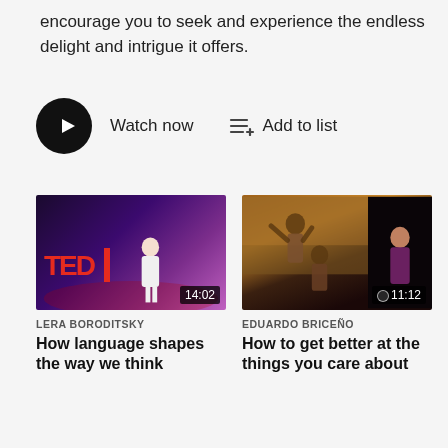encourage you to seek and experience the endless delight and intrigue it offers.
[Figure (screenshot): Watch now button with play icon and Add to list button with list icon]
[Figure (screenshot): TED talk thumbnail for Lera Boroditsky 'How language shapes the way we think', duration 14:02]
LERA BORODITSKY
How language shapes the way we think
[Figure (screenshot): TED talk thumbnail for Eduardo Briceño 'How to get better at the things you care about', duration 11:12]
EDUARDO BRICEÑO
How to get better at the things you care about